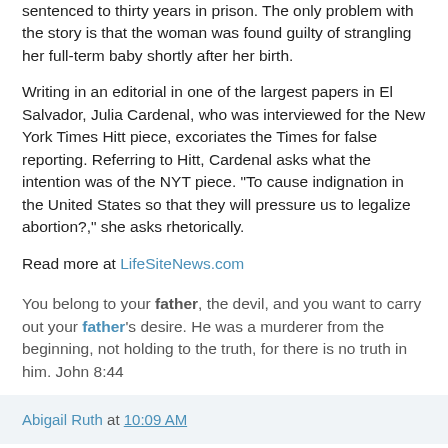sentenced to thirty years in prison. The only problem with the story is that the woman was found guilty of strangling her full-term baby shortly after her birth.
Writing in an editorial in one of the largest papers in El Salvador, Julia Cardenal, who was interviewed for the New York Times Hitt piece, excoriates the Times for false reporting. Referring to Hitt, Cardenal asks what the intention was of the NYT piece. "To cause indignation in the United States so that they will pressure us to legalize abortion?," she asks rhetorically.
Read more at LifeSiteNews.com
You belong to your father, the devil, and you want to carry out your father's desire. He was a murderer from the beginning, not holding to the truth, for there is no truth in him. John 8:44
Abigail Ruth at 10:09 AM
Tuesday, November 28, 2006